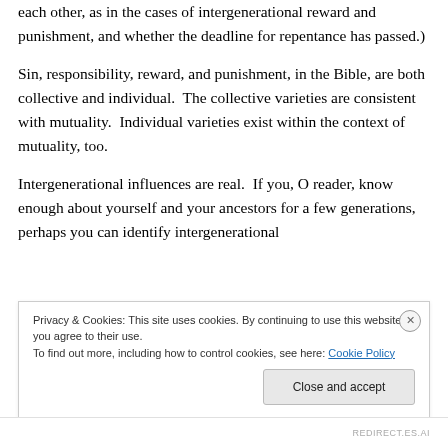each other, as in the cases of intergenerational reward and punishment, and whether the deadline for repentance has passed.)
Sin, responsibility, reward, and punishment, in the Bible, are both collective and individual. The collective varieties are consistent with mutuality. Individual varieties exist within the context of mutuality, too.
Intergenerational influences are real. If you, O reader, know enough about yourself and your ancestors for a few generations, perhaps you can identify intergenerational
Privacy & Cookies: This site uses cookies. By continuing to use this website, you agree to their use.
To find out more, including how to control cookies, see here: Cookie Policy
Close and accept
REDIRECT.ES.AI